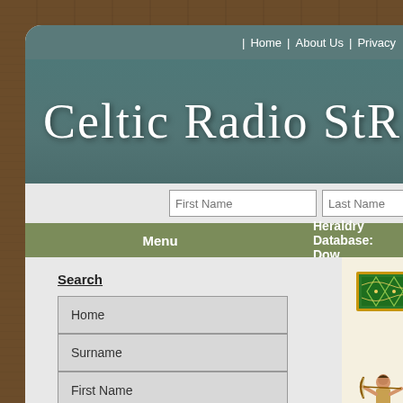| Home | About Us | Privacy
Celtic Radio Stor
First Name | Last Name
Menu
Heraldry Database: Dow
Search
Home
Surname
First Name
Popular Products
Coat of Arms
Clan Badges
Books & Gifts
[Figure (illustration): Celtic knotwork decorative banner in gold and green]
[Figure (illustration): Medieval archer figure in blue and tan clothing drawing a bow]
Heraldry Database